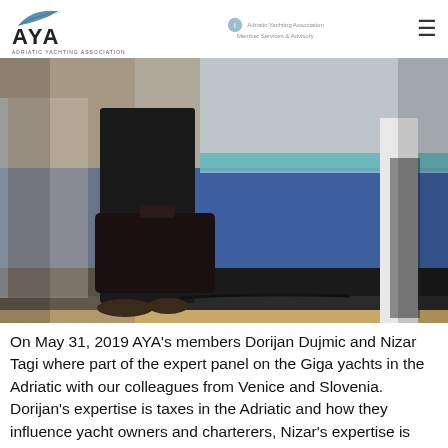AYA - Adriatic Yachting Association
[Figure (photo): Photo of a person standing at a podium or presentation area with blue-carpeted stage steps, holding a bag, taken at an event or conference.]
On May 31, 2019 AYA's members Dorijan Dujmic and Nizar Tagi where part of the expert panel on the Giga yachts in the Adriatic with our colleagues from Venice and Slovenia. Dorijan's expertise is taxes in the Adriatic and how they influence yacht owners and charterers, Nizar's expertise is how to migrate Giga Yachts to [...]